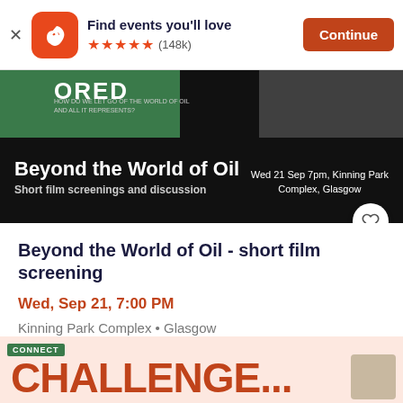[Figure (screenshot): Eventbrite app banner with logo, 'Find events you'll love' text, 5 star rating (148k), and Continue button]
[Figure (photo): Event promotional banner for 'Beyond the World of Oil' short film screening showing dark background with green block and text]
Beyond the World of Oil - short film screening
Wed, Sep 21, 7:00 PM
Kinning Park Complex • Glasgow
Free
[Figure (photo): Partial bottom banner showing 'CONNECT' label and 'CHALLENGE' text in red on pink background]